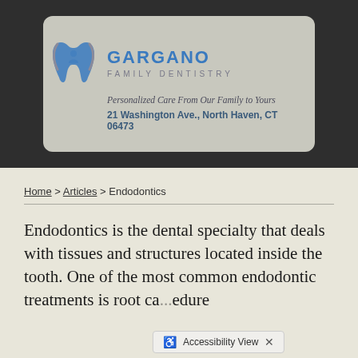[Figure (logo): Gargano Family Dentistry logo with tooth and person icon, tagline 'Personalized Care From Our Family to Yours', address '21 Washington Ave., North Haven, CT 06473']
Home > Articles > Endodontics
Endodontics is the dental specialty that deals with tissues and structures located inside the tooth. One of the most common endodontic treatments is root ca... edure